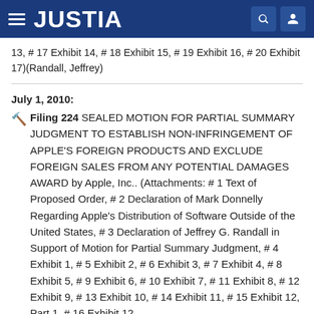JUSTIA
13, # 17 Exhibit 14, # 18 Exhibit 15, # 19 Exhibit 16, # 20 Exhibit 17)(Randall, Jeffrey)
July 1, 2010: Filing 224 SEALED MOTION FOR PARTIAL SUMMARY JUDGMENT TO ESTABLISH NON-INFRINGEMENT OF APPLE'S FOREIGN PRODUCTS AND EXCLUDE FOREIGN SALES FROM ANY POTENTIAL DAMAGES AWARD by Apple, Inc.. (Attachments: # 1 Text of Proposed Order, # 2 Declaration of Mark Donnelly Regarding Apple's Distribution of Software Outside of the United States, # 3 Declaration of Jeffrey G. Randall in Support of Motion for Partial Summary Judgment, # 4 Exhibit 1, # 5 Exhibit 2, # 6 Exhibit 3, # 7 Exhibit 4, # 8 Exhibit 5, # 9 Exhibit 6, # 10 Exhibit 7, # 11 Exhibit 8, # 12 Exhibit 9, # 13 Exhibit 10, # 14 Exhibit 11, # 15 Exhibit 12, Part 1, # 16 Exhibit 12